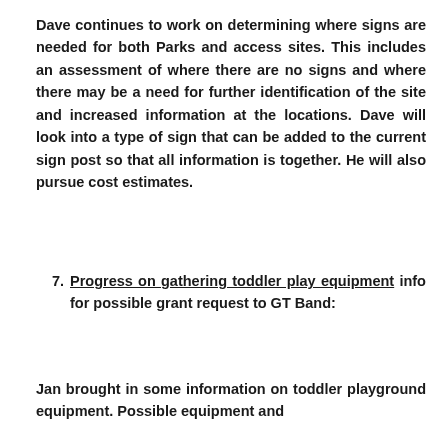Dave continues to work on determining where signs are needed for both Parks and access sites. This includes an assessment of where there are no signs and where there may be a need for further identification of the site and increased information at the locations. Dave will look into a type of sign that can be added to the current sign post so that all information is together. He will also pursue cost estimates.
7. Progress on gathering toddler play equipment info for possible grant request to GT Band:
Jan brought in some information on toddler playground equipment. Possible equipment and